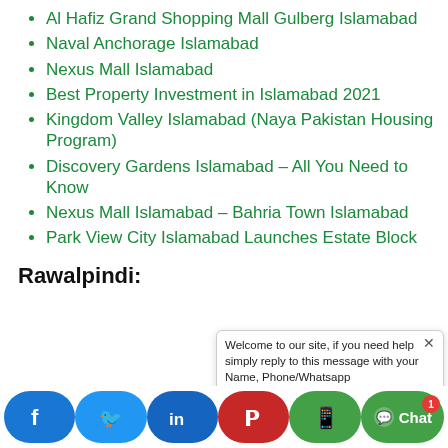Al Hafiz Grand Shopping Mall Gulberg Islamabad
Naval Anchorage Islamabad
Nexus Mall Islamabad
Best Property Investment in Islamabad 2021
Kingdom Valley Islamabad (Naya Pakistan Housing Program)
Discovery Gardens Islamabad – All You Need to Know
Nexus Mall Islamabad – Bahria Town Islamabad
Park View City Islamabad Launches Estate Block
Rawalpindi:
[Figure (screenshot): Chat popup overlay with welcome message: 'Welcome to our site, if you need help simply reply to this message with your Name, Phone/Whatsapp' and a Write input row with emoji/attachment icons, plus a partial URL showing 'e/assessment']
[Figure (infographic): Social share bar with buttons: Facebook (blue), Twitter (light blue), LinkedIn (dark blue), Pinterest (red), WhatsApp (green), Chat (green with badge showing 1)]